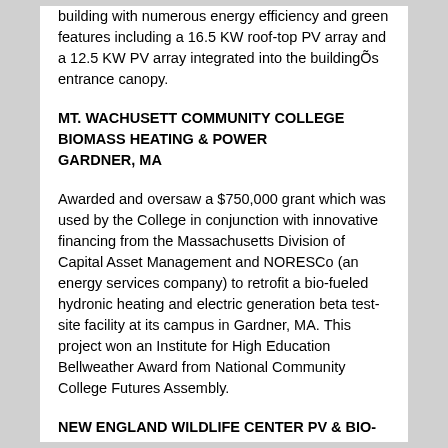building with numerous energy efficiency and green features including a 16.5 KW roof-top PV array and a 12.5 KW PV array integrated into the buildingÕs entrance canopy.
MT. WACHUSETT COMMUNITY COLLEGE BIOMASS HEATING & POWER
GARDNER, MA
Awarded and oversaw a $750,000 grant which was used by the College in conjunction with innovative financing from the Massachusetts Division of Capital Asset Management and NORESCo (an energy services company) to retrofit a bio-fueled hydronic heating and electric generation beta test-site facility at its campus in Gardner, MA. This project won an Institute for High Education Bellweather Award from National Community College Futures Assembly.
NEW ENGLAND WILDLIFE CENTER PV & BIO-FUELED CHP